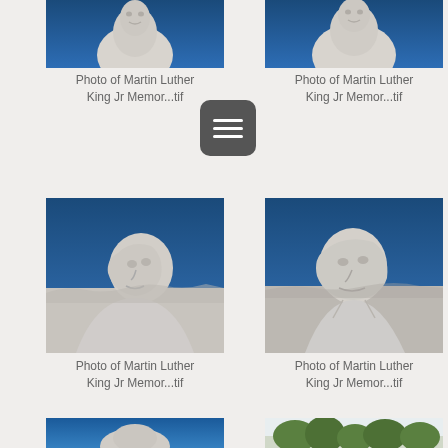[Figure (photo): Cropped top portion of white stone Martin Luther King Jr memorial statue against deep blue sky]
Photo of Martin Luther King Jr Memor...tif
[Figure (photo): Cropped top portion of white stone Martin Luther King Jr memorial statue against deep blue sky]
Photo of Martin Luther King Jr Memor...tif
[Figure (photo): White stone carved portrait of Martin Luther King Jr facing left against deep blue sky]
Photo of Martin Luther King Jr Memor...tif
[Figure (photo): White stone carved portrait of Martin Luther King Jr facing right against deep blue sky]
Photo of Martin Luther King Jr Memor...tif
[Figure (photo): Partial view of Martin Luther King Jr memorial statue against blue sky, cropped at bottom]
[Figure (photo): Partial view of memorial or landscape with trees, cropped at bottom]